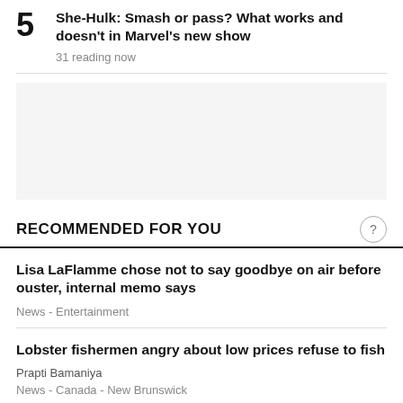5 She-Hulk: Smash or pass? What works and doesn't in Marvel's new show — 31 reading now
RECOMMENDED FOR YOU
Lisa LaFlamme chose not to say goodbye on air before ouster, internal memo says — News - Entertainment
Lobster fishermen angry about low prices refuse to fish — Prapti Bamaniya — News - Canada - New Brunswick